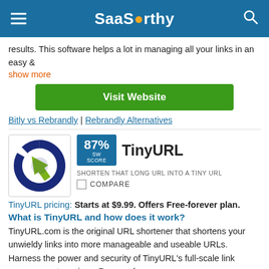SaaSworthy
results. This software helps a lot in managing all your links in an easy &
show more
Visit Website
Bitly vs Rebrandly | Rebrandly Alternatives
[Figure (logo): TinyURL logo with blue circular arrows and green upward arrow]
87% SW SCORE
TinyURL
SHORTEN THAT LONG URL INTO A TINY URL
COMPARE
TinyURL pricing: Starts at $9.99. Offers Free-forever plan.
What is TinyURL and how does it work?
TinyURL.com is the original URL shortener that shortens your unwieldy links into more manageable and useable URLs. Harness the power and security of TinyURL's full-scale link management services. Remove long
show more
Visit Website
Bitly vs TinyURL | TinyURL Alternatives